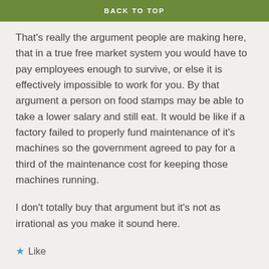BACK TO TOP
That's really the argument people are making here, that in a true free market system you would have to pay employees enough to survive, or else it is effectively impossible to work for you. By that argument a person on food stamps may be able to take a lower salary and still eat. It would be like if a factory failed to properly fund maintenance of it's machines so the government agreed to pay for a third of the maintenance cost for keeping those machines running.
I don't totally buy that argument but it's not as irrational as you make it sound here.
★ Like
Reply ›